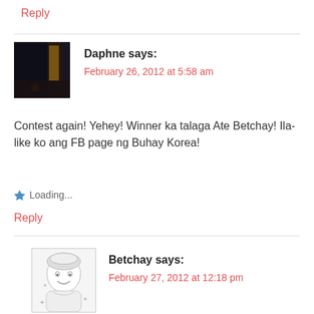Reply
[Figure (photo): Avatar photo of Daphne, dark indoor scene with window light]
Daphne says:
February 26, 2012 at 5:58 am
Contest again! Yehey! Winner ka talaga Ate Betchay! Ila-like ko ang FB page ng Buhay Korea!
Loading...
Reply
[Figure (illustration): Avatar illustration of Betchay, cartoon face sketch with scarf]
Betchay says:
February 27, 2012 at 12:18 pm